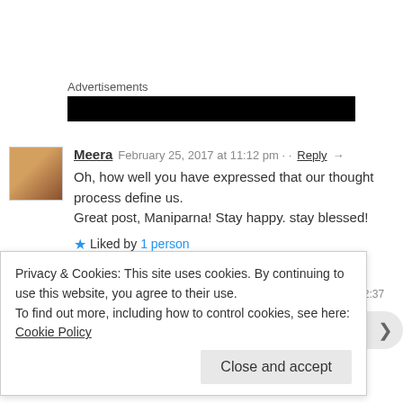Advertisements
[Figure (other): Black advertisement banner]
Meera   February 25, 2017 at 11:12 pm · · Reply →
Oh, how well you have expressed that our thought process define us. Great post, Maniparna! Stay happy. stay blessed!
★ Liked by 1 person
Maniparna Sengupta Majumder   March 16, 2017 at 2:37
Privacy & Cookies: This site uses cookies. By continuing to use this website, you agree to their use.
To find out more, including how to control cookies, see here: Cookie Policy
Close and accept